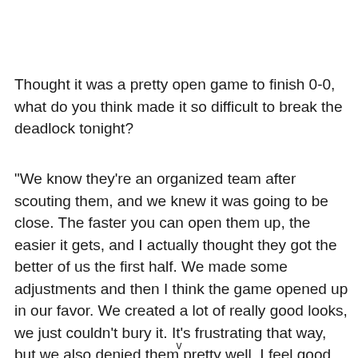Thought it was a pretty open game to finish 0-0, what do you think made it so difficult to break the deadlock tonight?
"We know they're an organized team after scouting them, and we knew it was going to be close. The faster you can open them up, the easier it gets, and I actually thought they got the better of us the first half. We made some adjustments and then I think the game opened up in our favor. We created a lot of really good looks, we just couldn't bury it. It's frustrating that way, but we also denied them pretty well. I feel good
v